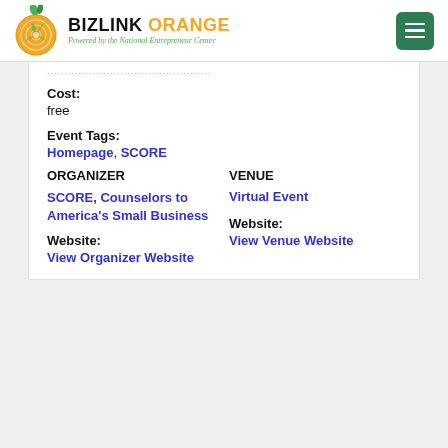BIZLINK ORANGE - Powered by the National Entrepreneur Center
....................................................
Cost:
free
Event Tags:
Homepage, SCORE
ORGANIZER
SCORE, Counselors to America's Small Business
Website:
View Organizer Website
VENUE
Virtual Event
Website:
View Venue Website